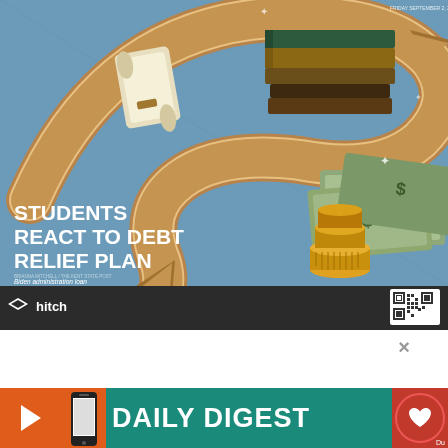[Figure (illustration): Illustrated newspaper front page showing a student loan debt relief theme. Features a large boomerang/arrow shape in brown with books, a diploma scroll, stacked gold coins, and dollar bill signs against a teal/blue background. Headline reads 'STUDENTS REACT TO DEBT RELIEF PLAN' with subtext about Biden administration loan forgiveness canceling up to $10,000 of federal student loan debt. Bottom has a dark gray ad banner with 'hitch' logo and a QR code.]
[Figure (screenshot): Daily Digest banner at the bottom of the page showing a red play button area, phone graphic, teal background with 'DAILY DIGEST' text in white bold, a close X button, and a red circular thumbs-up icon.]